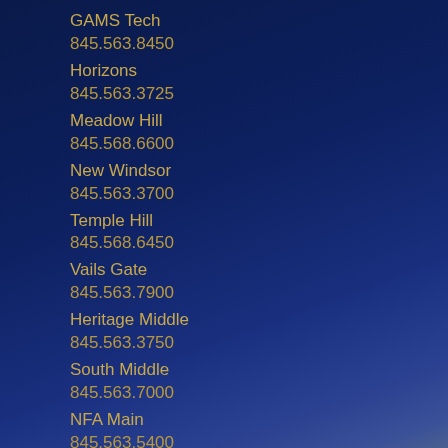GAMS Tech
845.563.8450
Horizons
845.563.3725
Meadow Hill
845.568.6600
New Windsor
845.563.3700
Temple Hill
845.568.6450
Vails Gate
845.563.7900
Heritage Middle
845.563.3750
South Middle
845.563.7000
NFA Main
845.563.5400
NFA North
845.563.8400
NFA West
845.568.6560